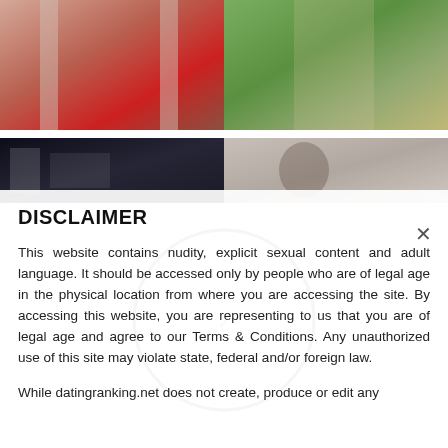[Figure (photo): Woman in red lingerie with curtains in background]
[Figure (photo): Blonde woman in yellow swimsuit outdoors in nature]
[Figure (photo): Dark interior scene with objects on surface]
[Figure (photo): Woman with dark hair in light-colored setting]
DISCLAIMER
This website contains nudity, explicit sexual content and adult language. It should be accessed only by people who are of legal age in the physical location from where you are accessing the site. By accessing this website, you are representing to us that you are of legal age and agree to our Terms & Conditions. Any unauthorized use of this site may violate state, federal and/or foreign law.
While datingranking.net does not create, produce or edit any